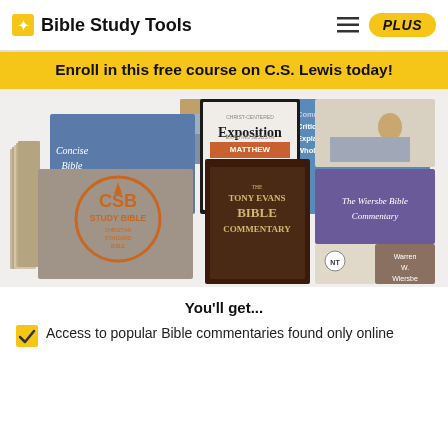Bible Study Tools
Enroll in this free course on C.S. Lewis today!
[Figure (photo): A collection of Bible commentary books arranged in a stack including: Concise Bible Commentary, Christ-Centered Exposition on Matthew, Commentary Critical and Explanatory on the Whole Bible, CSB Study Bible (Christian Standard Bible), The Tony Evans Bible Commentary, The Wiersbe Bible Commentary by Warren W. Wiersbe, and other books.]
You’ll get...
Access to popular Bible commentaries found only online